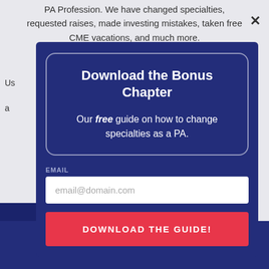PA Profession. We have changed specialties, requested raises, made investing mistakes, taken free CME vacations, and much more.
Us... a...
Download the Bonus Chapter
Our free guide on how to change specialties as a PA.
EMAIL
email@domain.com
DOWNLOAD THE GUIDE!